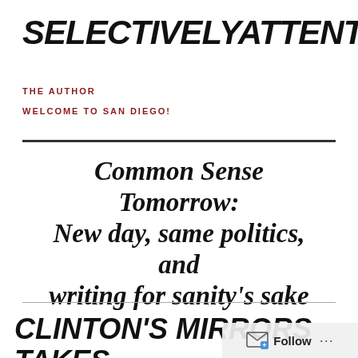SELECTIVELYATTENTIVE
THE AUTHOR
WELCOME TO SAN DIEGO!
Common Sense Tomorrow: New day, same politics, and writing for sanity's sake
CLINTON'S MIRRORS TAKES ON FOREIGN AFFAIRS AND